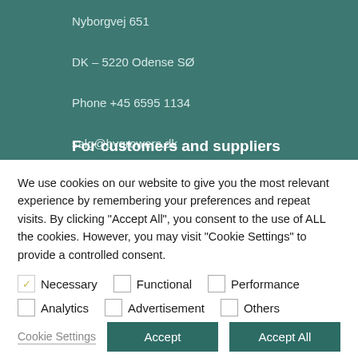Nyborgvej 651
DK – 5220 Odense SØ
Phone +45 6595 1134
salg@bygrowers.dk
Lev. nr.: 50280 og 50950
For customers and suppliers
We use cookies on our website to give you the most relevant experience by remembering your preferences and repeat visits. By clicking "Accept All", you consent to the use of ALL the cookies. However, you may visit "Cookie Settings" to provide a controlled consent.
Necessary
Functional
Performance
Analytics
Advertisement
Others